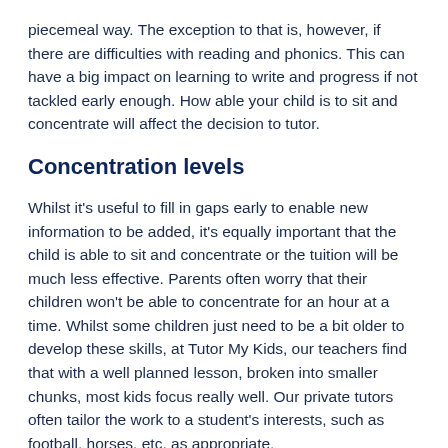piecemeal way. The exception to that is, however, if there are difficulties with reading and phonics. This can have a big impact on learning to write and progress if not tackled early enough. How able your child is to sit and concentrate will affect the decision to tutor.
Concentration levels
Whilst it's useful to fill in gaps early to enable new information to be added, it's equally important that the child is able to sit and concentrate or the tuition will be much less effective. Parents often worry that their children won't be able to concentrate for an hour at a time. Whilst some children just need to be a bit older to develop these skills, at Tutor My Kids, our teachers find that with a well planned lesson, broken into smaller chunks, most kids focus really well. Our private tutors often tailor the work to a student's interests, such as football, horses, etc. as appropriate.